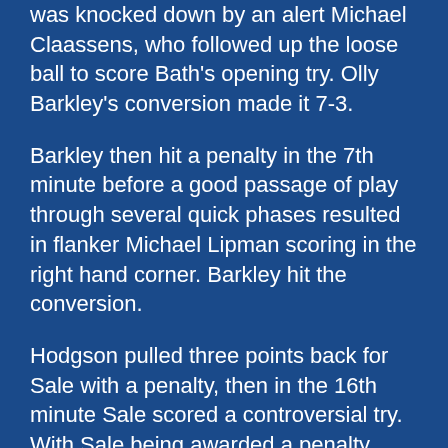was knocked down by an alert Michael Claassens, who followed up the loose ball to score Bath's opening try. Olly Barkley's conversion made it 7-3.
Barkley then hit a penalty in the 7th minute before a good passage of play through several quick phases resulted in flanker Michael Lipman scoring in the right hand corner. Barkley hit the conversion.
Hodgson pulled three points back for Sale with a penalty, then in the 16th minute Sale scored a controversial try. With Sale being awarded a penalty near the Bath try line, it seemed as if the referee had told Bath captain Steve Borthwick to talk to his players about the previous infringement. With Bath grouped together deep in discussion, Hodgson hit the ball high into the left hand corner for Chris Mayor to collect the ball and score. The try was awarded but Hodgson missed the conversion.
Sale continued their fight back and in the 20th minute, Luke McAlister hit a long range penalty to close the home